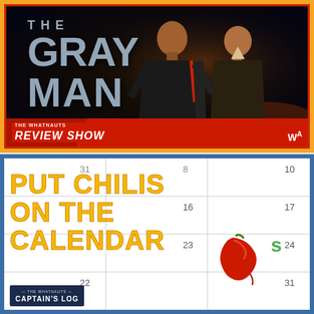[Figure (illustration): Movie promotional image for 'The Gray Man' showing two men in dark clothing against a moody background, with the film title in large metallic letters. 'The Whatnauts Review Show' branding at the bottom with WA logo.]
[Figure (illustration): Calendar-themed graphic with 'PUT CHILIS ON THE CALENDAR' text in large yellow letters, calendar grid showing dates 31, 8, 10, 16, 17, 22, 23, 24, 31, with Chili's restaurant logo (red chili pepper and green S). Captain's Log branding at bottom left.]